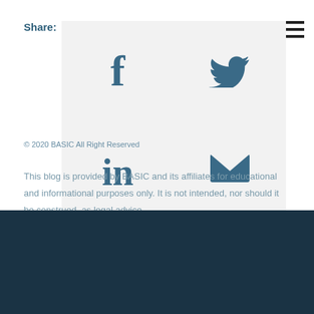Share:
[Figure (infographic): Social media share icons grid: Facebook (f), Twitter (bird), LinkedIn (in), Email (envelope) arranged in 2x2 grid on light gray background]
© 2020 BASIC All Right Reserved
This blog is provided by BASIC and its affiliates for educational and informational purposes only. It is not intended, nor should it be construed, as legal advice.